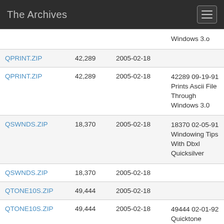The Archives
| Name | Size | Date | Description |
| --- | --- | --- | --- |
|  |  |  | Windows 3.o |
| QPRINT.ZIP | 42,289 | 2005-02-18 |  |
| QPRINT.ZIP | 42,289 | 2005-02-18 | 42289 09-19-91 Prints Ascii File Through Windows 3.0 |
| QSWNDS.ZIP | 18,370 | 2005-02-18 | 18370 02-05-91 Windowing Tips With Dbxl Quicksilver |
| QSWNDS.ZIP | 18,370 | 2005-02-18 |  |
| QTONE10S.ZIP | 49,444 | 2005-02-18 |  |
| QTONE10S.ZIP | 49,444 | 2005-02-18 | 49444 02-01-92 Quicktone Prototyper V 1.0s Ms Windows Utility |